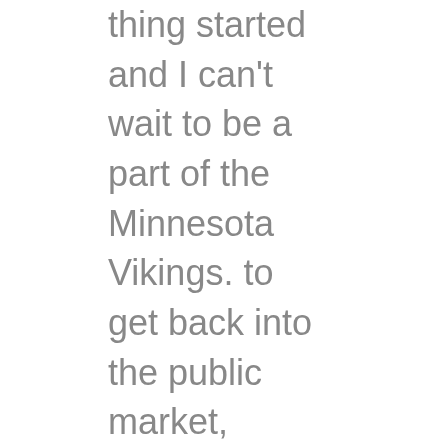thing started and I can't wait to be a part of the Minnesota Vikings. to get back into the public market, Leverton told CNN Business. I say he's not. Jones was limited Wholesale Jerseys Cheap most of the week,